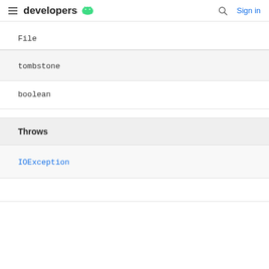developers (android logo) Search Sign in
File
tombstone
boolean
Throws
IOException